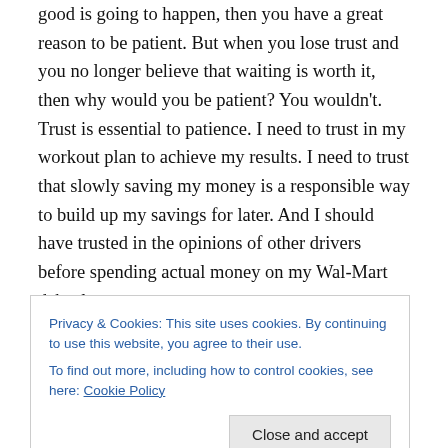good is going to happen, then you have a great reason to be patient. But when you lose trust and you no longer believe that waiting is worth it, then why would you be patient? You wouldn't. Trust is essential to patience. I need to trust in my workout plan to achieve my results. I need to trust that slowly saving my money is a responsible way to build up my savings for later. And I should have trusted in the opinions of other drivers before spending actual money on my Wal-Mart debacle.
In my life, I have recently been putting a lot of my trust in God. I realize people might be at different points in a
Privacy & Cookies: This site uses cookies. By continuing to use this website, you agree to their use.
To find out more, including how to control cookies, see here: Cookie Policy
hands (my Wal-Mart purchase, my new diet, my get-rich-